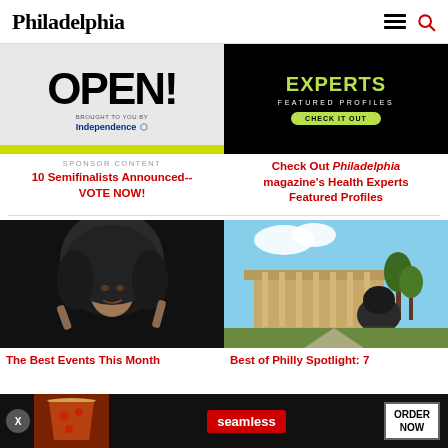Philadelphia
[Figure (screenshot): Left ad banner: OPEN! text with Independence Blue Cross branding and green bar]
[Figure (screenshot): Right ad banner: black background with green EXPERTS text, FEATURED PROFILES, CHECK IT OUT button]
SPONSOR CONTENT
10 Semifinalists Announced-- VOTE NOW!
Check Out Philadelphia magazine's Health Experts Featured Profiles
[Figure (photo): Photo of a person with large hair posing dramatically]
[Figure (photo): Photo of a sculpture outside a classical building (Philadelphia Museum of Art)]
The Best Events This Month
Best of Philly Spotlight: 7
[Figure (screenshot): Bottom banner ad for Seamless food delivery with pizza image and ORDER NOW button]